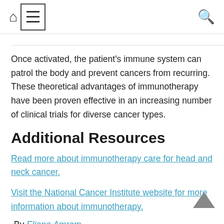[home icon] [menu icon] [search icon]
Once activated, the patient's immune system can patrol the body and prevent cancers from recurring. These theoretical advantages of immunotherapy have been proven effective in an increasing number of clinical trials for diverse cancer types.
Additional Resources
Read more about immunotherapy care for head and neck cancer.
Visit the National Cancer Institute website for more information about immunotherapy.
-By Eliana Amram